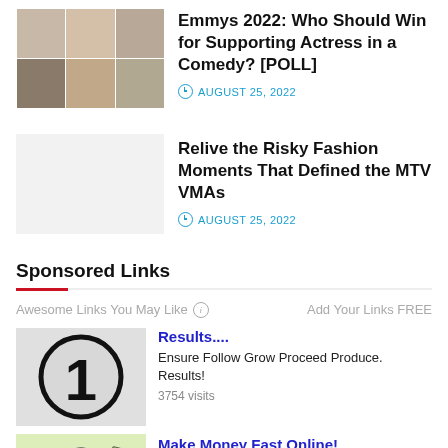[Figure (photo): Grid of actress headshots (2 rows x 3 columns)]
Emmys 2022: Who Should Win for Supporting Actress in a Comedy? [POLL]
AUGUST 25, 2022
[Figure (photo): Blank/white thumbnail placeholder]
Relive the Risky Fashion Moments That Defined the MTV VMAs
AUGUST 25, 2022
Sponsored Links
Awesome Links You May Like
Add Your Links FREE
[Figure (illustration): Number 1 inside a circle logo]
Results....
Ensure Follow Grow Proceed Produce. Results!
3754 visits
[Figure (illustration): Cartoon man holding money bags with dollar bills flying around]
Make Money Fast Online!
Join CoOp advertisement & earn on referrals while learning